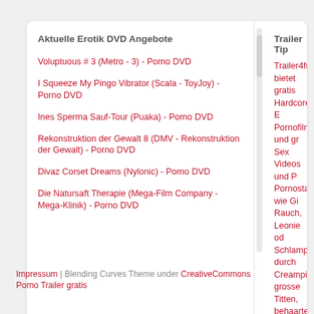Aktuelle Erotik DVD Angebote
Voluptuous # 3 (Metro - 3) - Porno DVD
I Squeeze My Pingo Vibrator (Scala - ToyJoy) - Porno DVD
Ines Sperma Sauf-Tour (Puaka) - Porno DVD
Rekonstruktion der Gewalt 8 (DMV - Rekonstruktion der Gewalt) - Porno DVD
Divaz Corset Dreams (Nylonic) - Porno DVD
Die Natursaft Therapie (Mega-Film Company - Mega-Klinik) - Porno DVD
Trailer Tip
Trailer4free bietet gratis Hardcore E Pornofilme und gr Sex Videos und P Pornostars wie Gi Rauch, Leonie od Schlampen durch Creampie, grosse Titten, behaarte M
Open your fucking m Private Mansize) - P
Impressum | Blending Curves Theme under CreativeCommons
Porno Trailer gratis